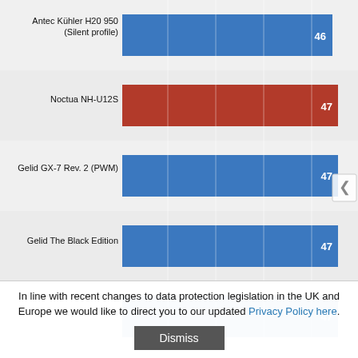[Figure (bar-chart): CPU Cooler Benchmark (partial)]
In line with recent changes to data protection legislation in the UK and Europe we would like to direct you to our updated Privacy Policy here.
Dismiss